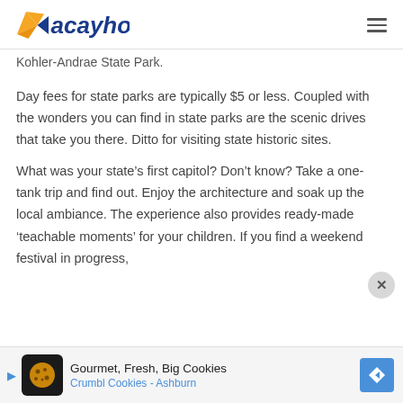Vacayholics
Kohler-Andrae State Park.
Day fees for state parks are typically $5 or less. Coupled with the wonders you can find in state parks are the scenic drives that take you there. Ditto for visiting state historic sites.
What was your state’s first capitol? Don’t know? Take a one-tank trip and find out. Enjoy the architecture and soak up the local ambiance. The experience also provides ready-made ‘teachable moments’ for your children. If you find a weekend festival in progress,
[Figure (other): Advertisement banner: Gourmet, Fresh, Big Cookies - Crumbl Cookies - Ashburn]